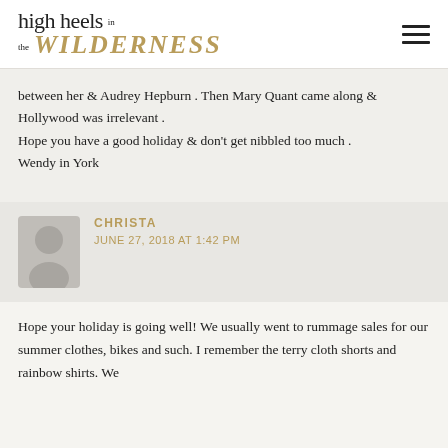high heels in the WILDERNESS
between her & Audrey Hepburn . Then Mary Quant came along & Hollywood was irrelevant .
Hope you have a good holiday & don't get nibbled too much .
Wendy in York
CHRISTA
JUNE 27, 2018 AT 1:42 PM
Hope your holiday is going well! We usually went to rummage sales for our summer clothes, bikes and such. I remember the terry cloth shorts and rainbow shirts. We